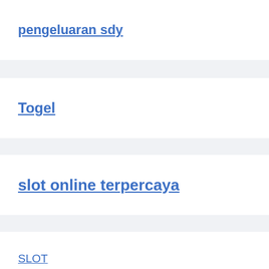pengeluaran sdy
Togel
slot online terpercaya
SLOT